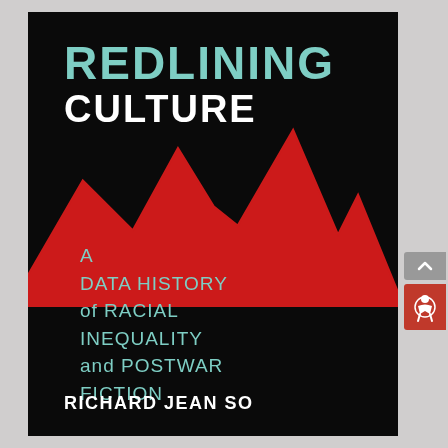[Figure (illustration): Book cover of 'Redlining Culture: A Data History of Racial Inequality and Postwar Fiction' by Richard Jean So. Black background with a red jagged line chart graphic spanning the middle of the cover. Title text in teal/mint and white. Author name at the bottom in white bold text.]